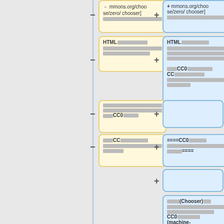[Figure (flowchart): A comparison flowchart with two columns of rounded boxes. Left column has yellow boxes with minus signs, right column has blue boxes with plus signs. Content includes HTML, CC0, and Chooser related items in Japanese with some English terms visible including HTML, CC0, machine-readable code, and Chooser.]